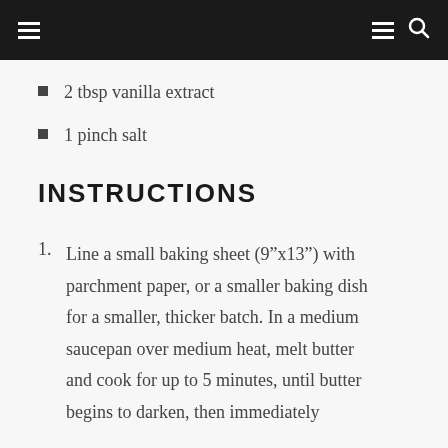navigation header
2 tbsp vanilla extract
1 pinch salt
INSTRUCTIONS
1. Line a small baking sheet (9”x13”) with parchment paper, or a smaller baking dish for a smaller, thicker batch. In a medium saucepan over medium heat, melt butter and cook for up to 5 minutes, until butter begins to darken, then immediately